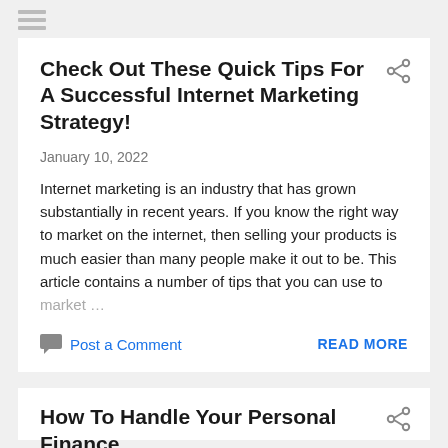Check Out These Quick Tips For A Successful Internet Marketing Strategy!
January 10, 2022
Internet marketing is an industry that has grown substantially in recent years. If you know the right way to market on the internet, then selling your products is much easier than many people make it out to be. This article contains a number of tips that you can use to market …
Post a Comment
READ MORE
How To Handle Your Personal Finance